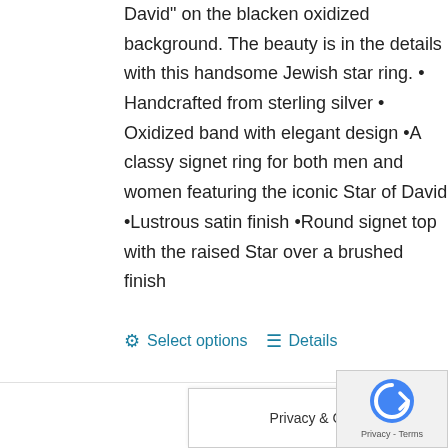David” on the blacken oxidized background. The beauty is in the details with this handsome Jewish star ring. • Handcrafted from sterling silver • Oxidized band with elegant design •A classy signet ring for both men and women featuring the iconic Star of David •Lustrous satin finish •Round signet top with the raised Star over a brushed finish
⚙ Select options  ☰ Details
Privacy & Cookies Policy